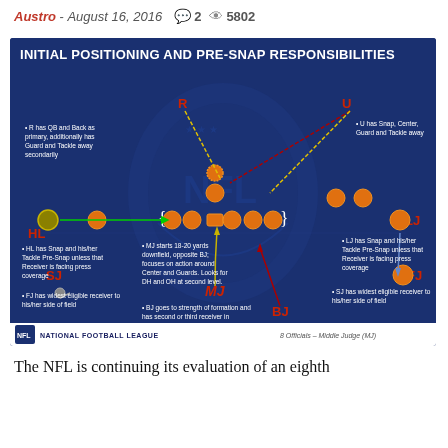Austro - August 16, 2016  💬 2  👁 5802
[Figure (infographic): NFL diagram showing Initial Positioning and Pre-Snap Responsibilities for 8 officials (Middle Judge MJ). Blue background with NFL shield watermark, orange player dots arranged in football formation, arrows indicating coverage responsibilities for officials: R, U, HL, LJ, SJ, FJ, MJ, BJ.]
The NFL is continuing its evaluation of an eighth